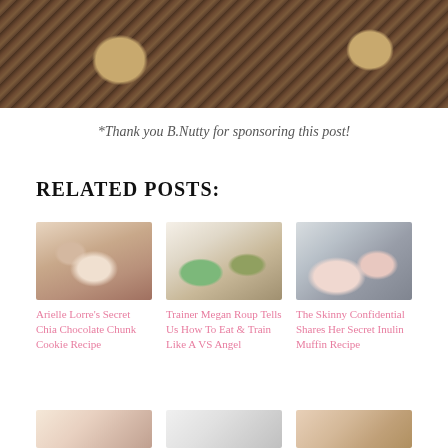[Figure (photo): Close-up top-down photo of baked oat cookies or bars with banana slices on top, on a dark brown grainy surface]
*Thank you B.Nutty for sponsoring this post!
RELATED POSTS:
[Figure (photo): Photo of chocolate chunk cookies on a plate, held by hands]
Arielle Lorre's Secret Chia Chocolate Chunk Cookie Recipe
[Figure (photo): Photo of toast with avocado and other toppings on a marble surface]
Trainer Megan Roup Tells Us How To Eat & Train Like A VS Angel
[Figure (photo): Photo of two women in a kitchen, one blonde and one brunette]
The Skinny Confidential Shares Her Secret Inulin Muffin Recipe
[Figure (photo): Bottom row partial photo 1 - flowers and baked goods]
[Figure (photo): Bottom row partial photo 2 - kitchen scene]
[Figure (photo): Bottom row partial photo 3 - food item]